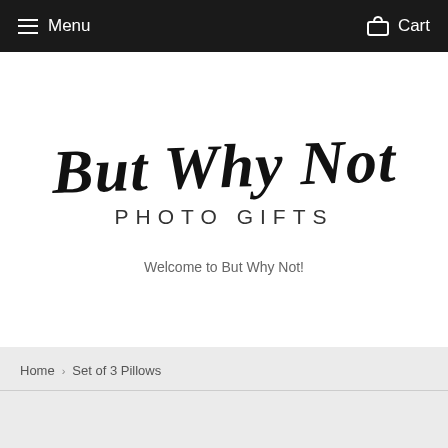Menu   Cart
But Why Not PHOTO GIFTS
Welcome to But Why Not!
Home › Set of 3 Pillows